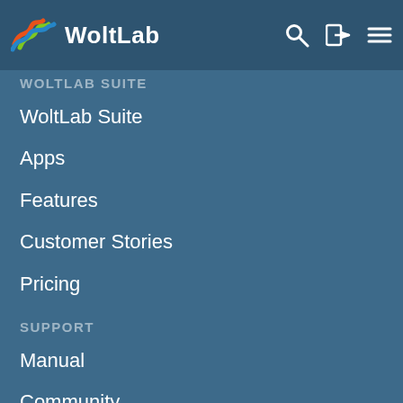WoltLab
WOLTLAB SUITE
WoltLab Suite
Apps
Features
Customer Stories
Pricing
SUPPORT
Manual
Community
Frequently Asked Questions
Developer Documentation
Contact Form
INFORMATION